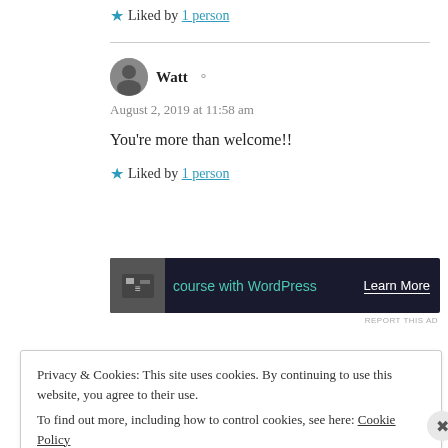★ Liked by 1 person
Watt  August 2, 2019 at 11:58 am
You're more than welcome!!
★ Liked by 1 person
[Figure (screenshot): Dark ad banner showing 'course with WordPress' with a Learn More button]
REPORT THIS AD
Privacy & Cookies: This site uses cookies. By continuing to use this website, you agree to their use. To find out more, including how to control cookies, see here: Cookie Policy